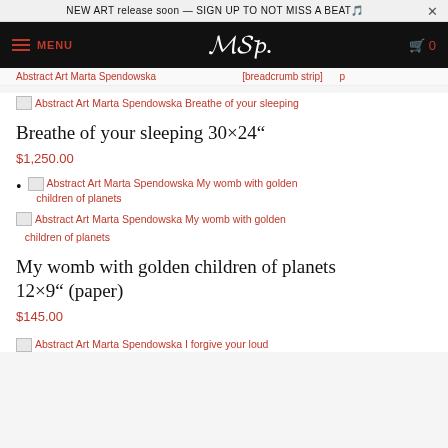NEW ART release soon — SIGN UP TO NOT MISS A BEAT🎵  ×
MENU  [logo]  🛒 0
[partial breadcrumb/link strip]
[Figure (screenshot): Broken image placeholder for Abstract Art Marta Spendowska Breathe of your sleeping]
Abstract Art Marta Spendowska Breathe of your sleeping
Breathe of your sleeping 30×24"
$1,250.00
Abstract Art Marta Spendowska My womb with golden children of planets
[Figure (screenshot): Broken image placeholder for Abstract Art Marta Spendowska My womb with golden children of planets]
Abstract Art Marta Spendowska My womb with golden children of planets
My womb with golden children of planets 12×9" (paper)
$145.00
[Figure (screenshot): Broken image placeholder for Abstract Art Marta Spendowska I forgive your loud]
Abstract Art Marta Spendowska I forgive your loud